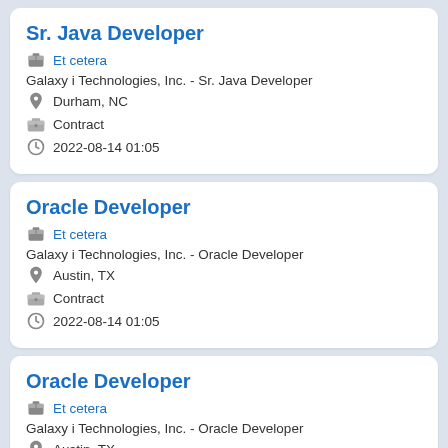Sr. Java Developer
Et cetera
Galaxy i Technologies, Inc. - Sr. Java Developer
Durham, NC
Contract
2022-08-14 01:05
Oracle Developer
Et cetera
Galaxy i Technologies, Inc. - Oracle Developer
Austin, TX
Contract
2022-08-14 01:05
Oracle Developer
Et cetera
Galaxy i Technologies, Inc. - Oracle Developer
Austin, TX
Contract
2022-08-14 01:05